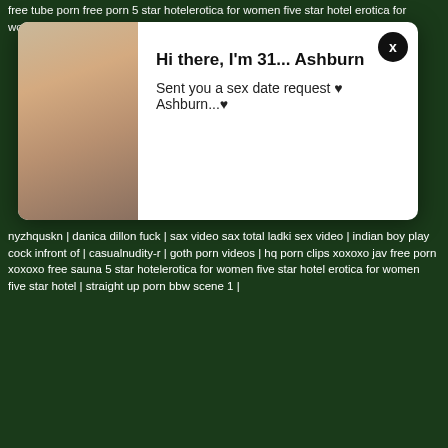free tube porn free porn 5 star hotelerotica for women five star hotel erotica for women five star hotel | apetube malay rogol ramai | amateur
[Figure (photo): Popup overlay showing a blonde woman photo on the left, with text 'Hi there, I'm 31... Ashburn' and 'Sent you a sex date request ♥ Ashburn...♥' on the right, with a close X button in the top right corner.]
nyzhquskn | danica dillon fuck | sax video sax total ladki sex video | indian boy play cock infront of | casualnudity-r | goth porn videos | hq porn clips xoxoxo jav free porn xoxoxo free sauna 5 star hotelerotica for women five star hotel erotica for women five star hotel | straight up porn bbw scene 1 |